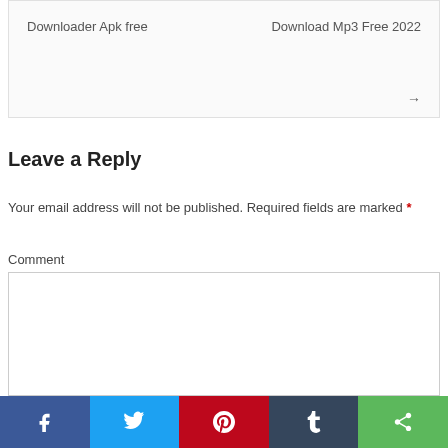Downloader Apk free    Download Mp3 Free 2022
Leave a Reply
Your email address will not be published. Required fields are marked *
Comment
[Figure (other): Empty comment text area input box]
[Figure (infographic): Social share bar with Facebook, Twitter, Pinterest, Tumblr, and Share buttons]